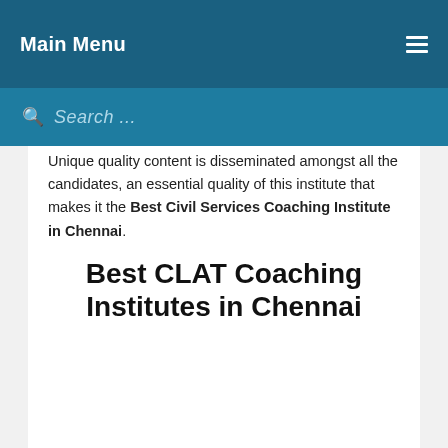Main Menu
Search ...
Unique quality content is disseminated amongst all the candidates, an essential quality of this institute that makes it the Best Civil Services Coaching Institute in Chennai.
Best CLAT Coaching Institutes in Chennai